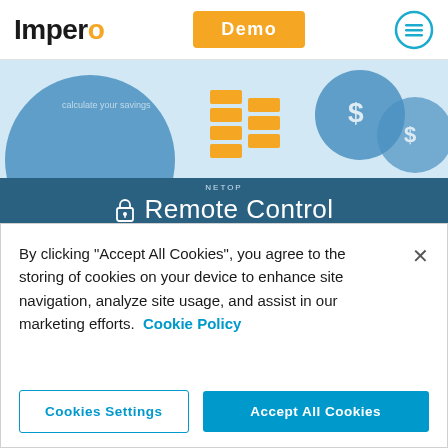Impero | Demo | Menu
[Figure (illustration): Partial view of an infographic banner with blue circles, dollar sign icons, and stacked bar/coin graphics on a light blue background]
[Figure (infographic): Dark teal banner with Netop Remote Control logo (padlock icon, NETOP label above, Remote Control text), a horizontal divider line, and descriptive text below]
Every retailer is different based on their size, industry, and region, but one thing remains: investing in Netop Remote Control software will offer the security and efficiency your business needs to increase ROI and run smoothly.
By clicking “Accept All Cookies”, you agree to the storing of cookies on your device to enhance site navigation, analyze site usage, and assist in our marketing efforts.  Cookie Policy
Cookies Settings
Accept All Cookies